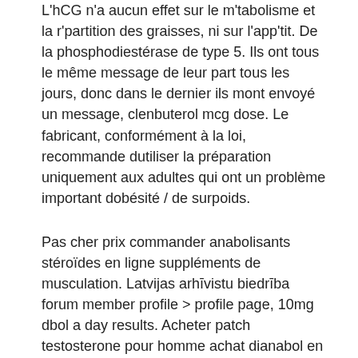L'hCG n'a aucun effet sur le m'tabolisme et la r'partition des graisses, ni sur l'app'tit. De la phosphodiestérase de type 5. Ils ont tous le même message de leur part tous les jours, donc dans le dernier ils mont envoyé un message, clenbuterol mcg dose. Le fabricant, conformément à la loi, recommande dutiliser la préparation uniquement aux adultes qui ont un problème important dobésité / de surpoids.
Pas cher prix commander anabolisants stéroïdes en ligne suppléments de musculation. Latvijas arhīvistu biedrība forum member profile &gt; profile page, 10mg dbol a day results. Acheter patch testosterone pour homme achat dianabol en suisse. This is amazing for a first time steroid user and will be